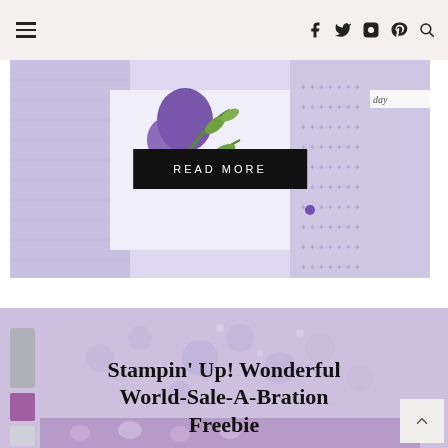Navigation bar with hamburger menu and social icons (Facebook, Twitter, Instagram, Pinterest, Search)
[Figure (photo): Purple floral handmade card with green leaves and lavender embossed background, with a 'READ MORE' button overlay]
[Figure (photo): Purple embossed floral card background with color palette swatches on left side]
Stampin' Up! Wonderful World-Sale-A-Bration Freebie